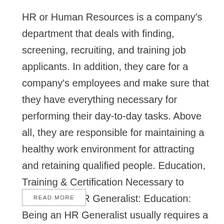HR or Human Resources is a company's department that deals with finding, screening, recruiting, and training job applicants. In addition, they care for a company's employees and make sure that they have everything necessary for performing their day-to-day tasks. Above all, they are responsible for maintaining a healthy work environment for attracting and retaining qualified people. Education, Training & Certification Necessary to Become an HR Generalist: Education: Being an HR Generalist usually requires a minimum a bachelor's degree in human resources, business, or organizational development. In addition, a master's degree such as MBA is always preferred. Training: Many employers look...
READ MORE